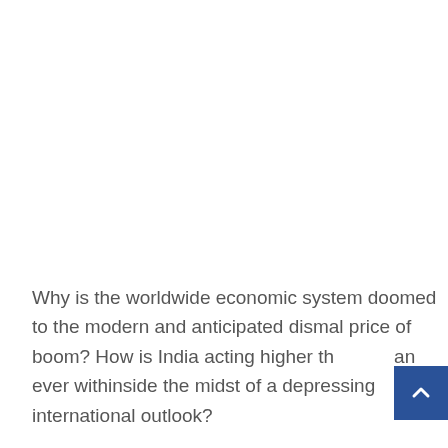Why is the worldwide economic system doomed to the modern and anticipated dismal price of boom? How is India acting higher than ever withinside the midst of a depressing international outlook?